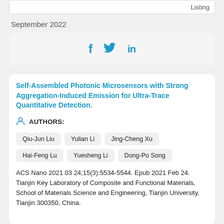Listing
September 2022
[Figure (other): Social media share icons: Facebook (f), Twitter (bird), LinkedIn (in)]
Self-Assembled Photonic Microsensors with Strong Aggregation-Induced Emission for Ultra-Trace Quantitative Detection.
AUTHORS:
Qiu-Jun Liu
Yulian Li
Jing-Cheng Xu
Hai-Feng Lu
Yuesheng Li
Dong-Po Song
ACS Nano 2021 03 24;15(3):5534-5544. Epub 2021 Feb 24. Tianjin Key Laboratory of Composite and Functional Materials, School of Materials Science and Engineering, Tianjin University, Tianjin 300350, China.